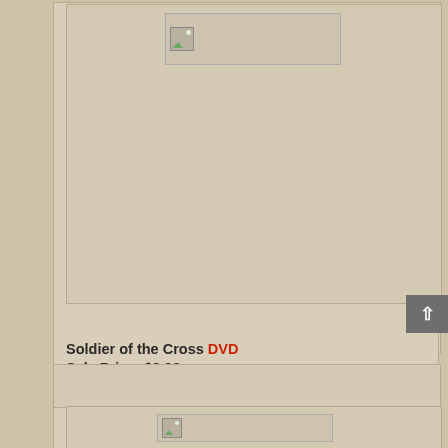[Figure (photo): Product image placeholder for Soldier of the Cross DVD (broken image icon shown)]
Soldier of the Cross DVD
Sale Price: $8.98
This concert features songs from Skaggs' Grammy winning album Soldier of the Cross, and includes guest performances by the acclaimed family group, The Whites, and bluegrass gospel favorites, Jerry and Tammy Sullivan. It's a one-hour, rousing program of gospel and bluegrass music that you'll enjoy over and over again.
[Figure (photo): Second product image placeholder (broken image icon shown)]